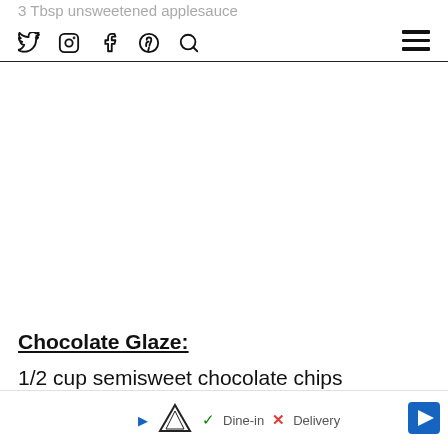3 Tbsp unsweetened applesauce
Chocolate Glaze:
1/2 cup semisweet chocolate chips
1 tsp canola oil
1 Tbsp corn syrup
1/4 tsp